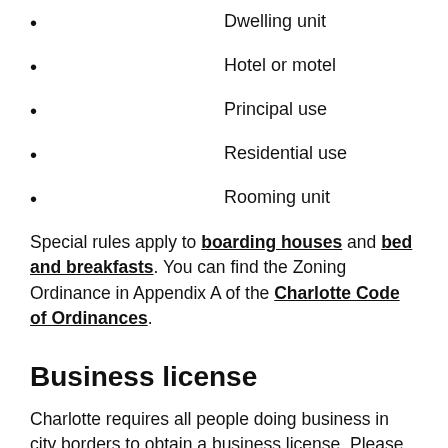Dwelling unit
Hotel or motel
Principal use
Residential use
Rooming unit
Special rules apply to boarding houses and bed and breakfasts. You can find the Zoning Ordinance in Appendix A of the Charlotte Code of Ordinances.
Business license
Charlotte requires all people doing business in city borders to obtain a business license. Please review the city's website on business-